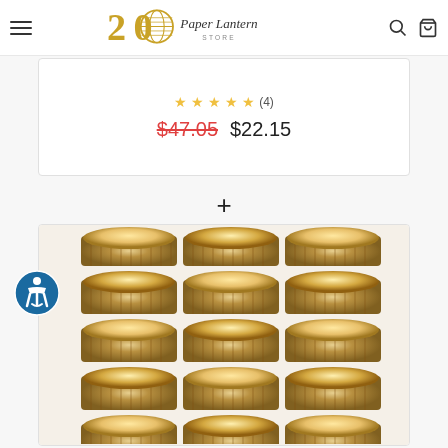20 Paper Lantern Store — navigation header with hamburger menu, logo, search icon, and cart icon
★★★★★ (4)
$47.05  $22.15
+
[Figure (photo): Product photo showing a group of approximately 12-16 mercury glass style silver/gold glitter tealight votive holders arranged in a grid, lit with warm light inside]